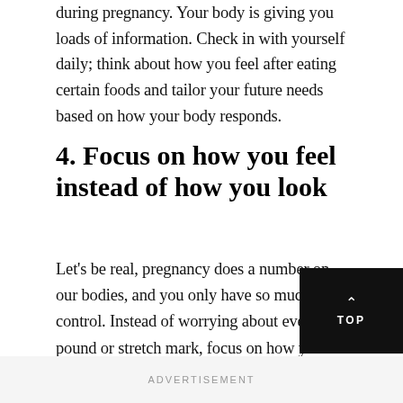during pregnancy. Your body is giving you loads of information. Check in with yourself daily; think about how you feel after eating certain foods and tailor your future needs based on how your body responds.
4. Focus on how you feel instead of how you look
Let's be real, pregnancy does a number on our bodies, and you only have so much control. Instead of worrying about every pound or stretch mark, focus on how you're feeling. Let your happiness come from beyond your reflection in the mirror or the number on the scale.
ADVERTISEMENT